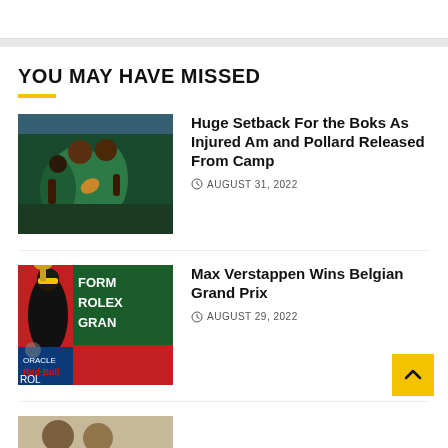YOU MAY HAVE MISSED
[Figure (photo): Rugby player in green South Africa jersey running with ball]
Huge Setback For the Boks As Injured Am and Pollard Released From Camp
AUGUST 31, 2022
[Figure (photo): Formula 1 podium celebration with Red Bull Racing driver Max Verstappen holding trophy, Formula Rolex Grand Prix banner in background]
Max Verstappen Wins Belgian Grand Prix
AUGUST 29, 2022
[Figure (photo): Partial view of a third article image at bottom of page]